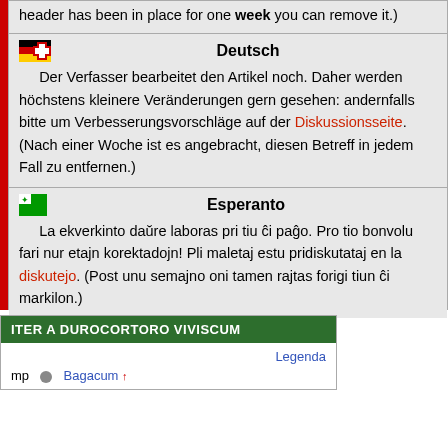header has been in place for one week you can remove it.)
Deutsch
Der Verfasser bearbeitet den Artikel noch. Daher werden höchstens kleinere Veränderungen gern gesehen: andernfalls bitte um Verbesserungsvorschläge auf der Diskussionsseite. (Nach einer Woche ist es angebracht, diesen Betreff in jedem Fall zu entfernen.)
Esperanto
La ekverkinto daŭre laboras pri tiu ĉi paĝo. Pro tio bonvolu fari nur etajn korektadojn! Pli maletaj estu pridiskutataj en la diskutejo. (Post unu semajno oni tamen rajtas forigi tiun ĉi markilon.)
ITER A DUROCORTORO VIVISCUM
Legenda
mp  Bagacum ↑